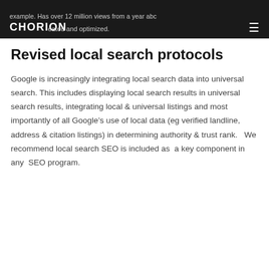example. Has over 12 million views from a year abc created and optimized.
Revised local search protocols
Google is increasingly integrating local search data into universal search. This includes displaying local search results in universal search results, integrating local & universal listings and most importantly of all Google's use of local data (eg verified landline, address & citation listings) in determining authority & trust rank.   We recommend local search SEO is included as  a key component in any  SEO program.